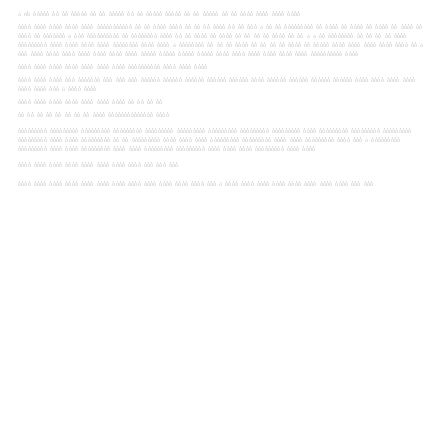Lorem ipsum dolor sit amet consectetur adipiscing elit sed do eiusmod tempor incididunt ut labore et dolore magna aliqua.
Ut enim ad minim veniam quis nostrud exercitation ullamco laboris nisi ut aliquip ex ea commodo consequat duis aute irure dolor in reprehenderit in voluptate velit esse cillum dolore eu fugiat nulla pariatur excepteur sint occaecat cupidatat non proident sunt in culpa qui officia deserunt mollit anim id est laborum sed perspiciatis unde omnis iste natus error sit voluptatem accusantium doloremque laudantium totam rem aperiam eaque ipsa quae ab illo inventore veritatis et quasi architecto beatae vitae dicta sunt explicabo nemo enim ipsam voluptatem quia voluptas sit aspernatur aut odit aut fugit sed quia consequuntur magni dolores eos qui ratione voluptatem sequi nesciunt neque porro quisquam est qui dolorem ipsum quia dolor sit amet consectetur adipisci velit.
Sed ut perspiciatis unde omnis iste natus error sit voluptatem accusantium doloremque laudantium totam rem aperiam.
Nemo enim ipsam voluptatem quia voluptas sit aspernatur aut odit aut fugit sed quia consequuntur magni dolores.
At vero eos et accusamus et iusto odio dignissimos ducimus qui blanditiis praesentium voluptatum deleniti atque corrupti quos dolores et quas molestias excepturi sint occaecati cupiditate non provident similique sunt in culpa qui officia deserunt mollitia animi id est laborum et dolorum fuga.
Et harum quidem rerum facilis est et expedita distinctio nam libero tempore cum soluta nobis est eligendi optio cumque nihil impedit quo minus.
Temporibus autem quibusdam et aut officiis debitis aut rerum necessitatibus saepe eveniet ut et voluptates repudiandae sint et molestiae non recusandae itaque earum rerum hic tenetur a sapiente delectus ut aut reiciendis voluptatibus maiores alias consequatur aut perferendis doloribus asperiores repellat.
Quis autem vel eum iure reprehenderit qui in ea voluptate velit esse quam nihil molestiae consequatur.
Investigationes demonstraverunt lectores legere me lius quod ii legunt saepius claritas est etiam processus dynamicus qui sequitur mutationem consuetudium lectorum mirum est notare quam littera gothica quam nunc putamus parum claram anteposuerit litterarum formas humanitatis per seacula quarta decima et quinta decima eodem modo typi qui nunc nobis videntur parum clari fiant sollemnes in futurum.
Lorem ipsum dolor sit amet consectetur adipiscing elit sed do eiusmod tempor incididunt ut labore et dolore magna aliqua ut enim.
Lorem ipsum dolor sit amet consectetur adipiscing elit sed do eiusmod tempor incididunt ut labore et dolore magna aliqua ut enim ad minim veniam.